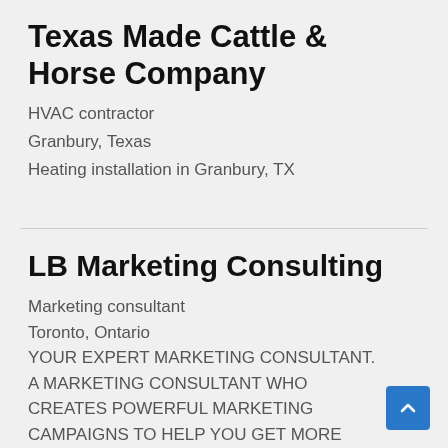Texas Made Cattle & Horse Company
HVAC contractor
Granbury, Texas
Heating installation in Granbury, TX
LB Marketing Consulting
Marketing consultant
Toronto, Ontario
YOUR EXPERT MARKETING CONSULTANT. A MARKETING CONSULTANT WHO CREATES POWERFUL MARKETING CAMPAIGNS TO HELP YOU GET MORE CUSTOMERS